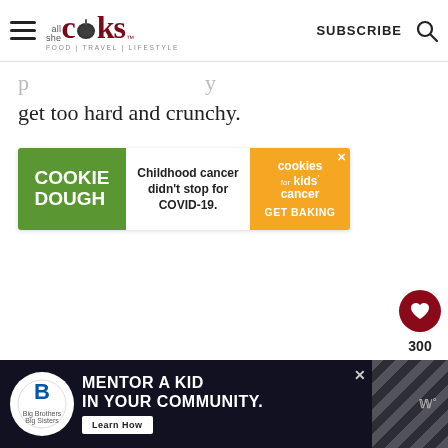all she cooks | FOOD | TRAVEL | LIFESTYLE — SUBSCRIBE
get too hard and crunchy.
[Figure (other): Cookie Dough ad banner: green left panel with 'COOKIE DOUGH', white center with 'Childhood cancer didn't stop for COVID-19.', orange right panel with 'cookies for kids' cancer - GET BAKING']
[Figure (other): Floating heart/like button (dark red circle with heart icon) and share button, count showing 300]
[Figure (other): Bottom advertisement banner: Big Brothers Big Sisters logo on dark background, text 'MENTOR A KID IN YOUR COMMUNITY.' with 'Learn How' button, diagonal striped graphic element]